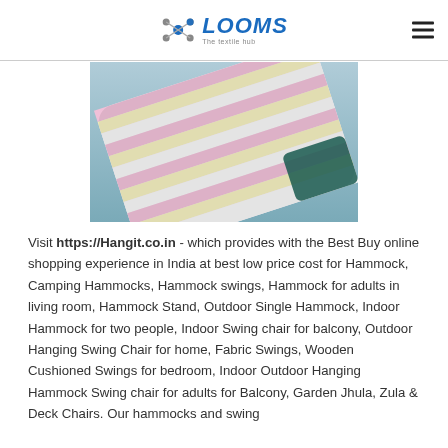LOOMS The textile hub
[Figure (photo): Close-up photo of a multicolored striped hammock fabric with pink, yellow, and white stripes, folded/bunched diagonally.]
Visit https://Hangit.co.in - which provides with the Best Buy online shopping experience in India at best low price cost for Hammock, Camping Hammocks, Hammock swings, Hammock for adults in living room, Hammock Stand, Outdoor Single Hammock, Indoor Hammock for two people, Indoor Swing chair for balcony, Outdoor Hanging Swing Chair for home, Fabric Swings, Wooden Cushioned Swings for bedroom, Indoor Outdoor Hanging Hammock Swing chair for adults for Balcony, Garden Jhula, Zula & Deck Chairs. Our hammocks and swing